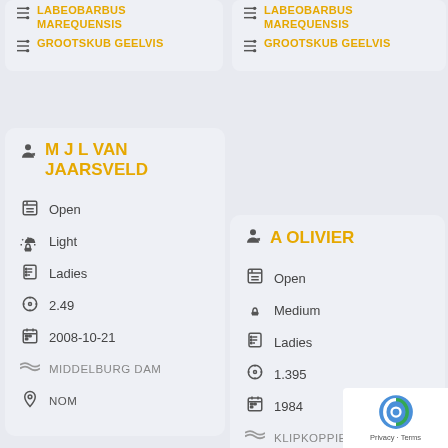LABEOBARBUS MAREQUENSIS
GROOTSKUB GEELVIS (top-left card, partial)
LABEOBARBUS MAREQUENSIS
GROOTSKUB GEELVIS (top-right card)
M J L VAN JAARSVELD
Open
Light
Ladies
2.49
2008-10-21
MIDDELBURG DAM
NOM
A OLIVIER
Open
Medium
Ladies
1.395
1984
KLIPKOPPIES
N TVL